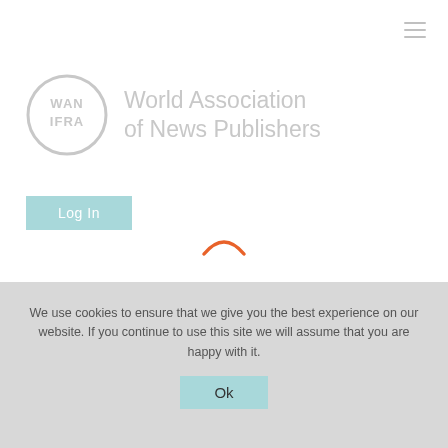[Figure (logo): WAN-IFRA World Association of News Publishers logo — circular badge with WAN IFRA text alongside full organization name in light gray]
Log In
[Figure (other): Orange spinner arc loading indicator]
We use cookies to ensure that we give you the best experience on our website. If you continue to use this site we will assume that you are happy with it.
Ok